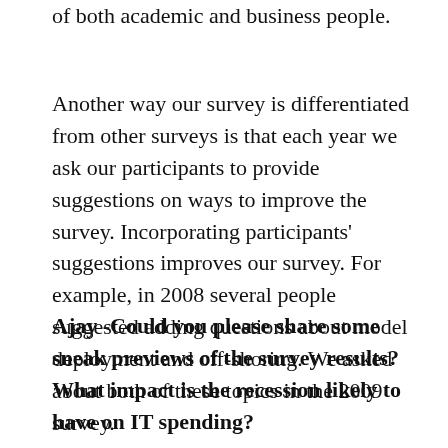survey. Our participants include large numbers of both academic and business people.
Another way our survey is differentiated from other surveys is that each year we ask our participants to provide suggestions on ways to improve the survey. Incorporating participants' suggestions improves our survey. For example, in 2008 several people suggested adding questions about model deployment and off-shoring. We asked about both of these topics in the 2009 survey.
Ajay -Could you please share some sneak previews of the survey results? What impact is the recession likely to have on IT spending?